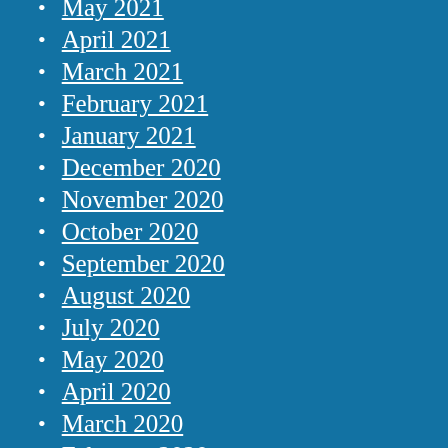May 2021
April 2021
March 2021
February 2021
January 2021
December 2020
November 2020
October 2020
September 2020
August 2020
July 2020
May 2020
April 2020
March 2020
February 2020
January 2020
December 2019